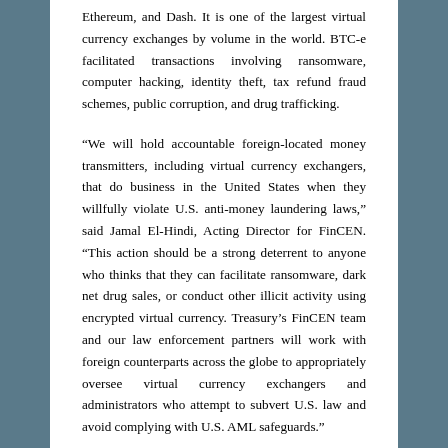Ethereum, and Dash. It is one of the largest virtual currency exchanges by volume in the world. BTC-e facilitated transactions involving ransomware, computer hacking, identity theft, tax refund fraud schemes, public corruption, and drug trafficking.
“We will hold accountable foreign-located money transmitters, including virtual currency exchangers, that do business in the United States when they willfully violate U.S. anti-money laundering laws,” said Jamal El-Hindi, Acting Director for FinCEN. “This action should be a strong deterrent to anyone who thinks that they can facilitate ransomware, dark net drug sales, or conduct other illicit activity using encrypted virtual currency. Treasury’s FinCEN team and our law enforcement partners will work with foreign counterparts across the globe to appropriately oversee virtual currency exchangers and administrators who attempt to subvert U.S. law and avoid complying with U.S. AML safeguards.”
FinCEN acted in coordination with law enforcement’s seizure of BTC-e and Vinnik’s arrest. The Internal Revenue Service-Criminal Investigation Division, Federal Bureau of